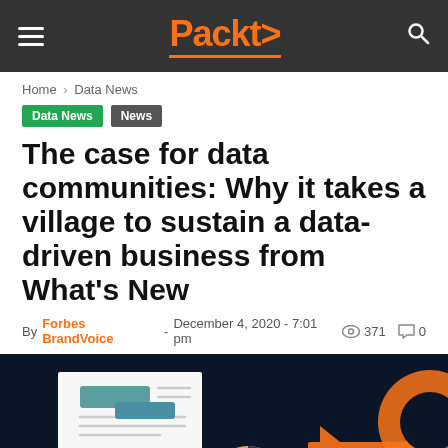Packt
Home > Data News
Data News   News
The case for data communities: Why it takes a village to sustain a data-driven business from What's New
By Forbes BrandVoice - December 4, 2020 - 7:01 pm  371  0
[Figure (illustration): Dark navy background illustration showing speech bubbles with data/chart icons, a donut chart, and orange accent elements representing data communities]